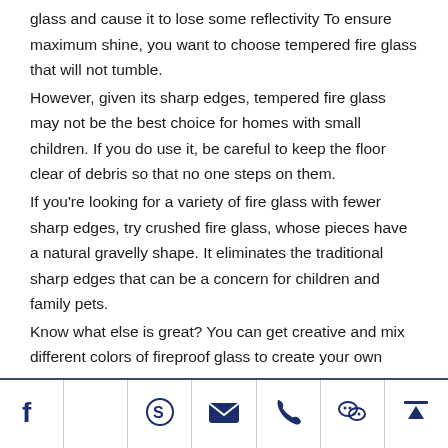glass and cause it to lose some reflectivity To ensure maximum shine, you want to choose tempered fire glass that will not tumble.
However, given its sharp edges, tempered fire glass may not be the best choice for homes with small children. If you do use it, be careful to keep the floor clear of debris so that no one steps on them.
If you're looking for a variety of fire glass with fewer sharp edges, try crushed fire glass, whose pieces have a natural gravelly shape. It eliminates the traditional sharp edges that can be a concern for children and family pets.
Know what else is great? You can get creative and mix different colors of fireproof glass to create your own
[social media icons: Facebook, Skype, Email, Phone, WeChat, Upload]